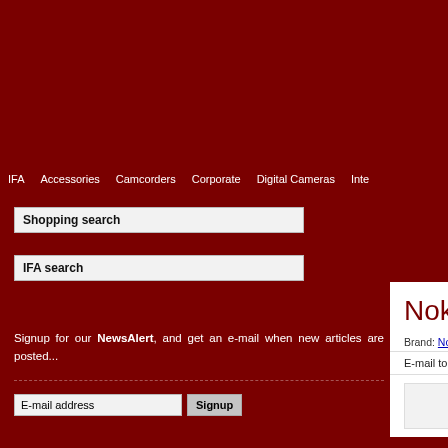IFA  Accessories  Camcorders  Corporate  Digital Cameras  Inte...
Shopping search
IFA search
Signup for our NewsAlert, and get an e-mail when new articles are posted...
E-mail address  Signup
Nokia BH-903 bluetoo...
Brand: Nokia   Subject: Mobile Imaging   Cate...
E-mail to a friend   Print article   Boo...
IFA Report
Monda 27 August 2007